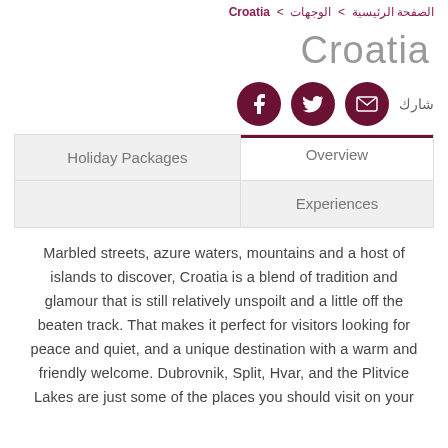الصفحة الرئيسية > الوجهات > Croatia
Croatia
شارك
Holiday Packages | Overview | Experiences
Marbled streets, azure waters, mountains and a host of islands to discover, Croatia is a blend of tradition and glamour that is still relatively unspoilt and a little off the beaten track. That makes it perfect for visitors looking for peace and quiet, and a unique destination with a warm and friendly welcome. Dubrovnik, Split, Hvar, and the Plitvice Lakes are just some of the places you should visit on your Croatia trip.